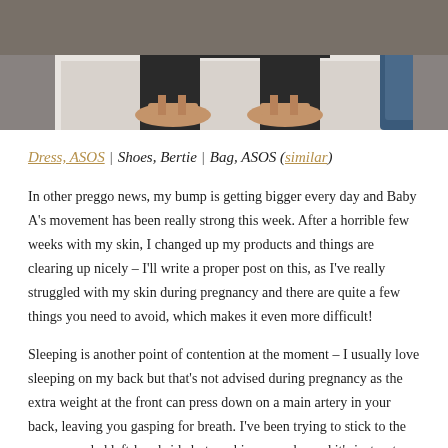[Figure (photo): Cropped photo showing a person sitting on steps, wearing tan/nude strappy sandals and dark clothing, with a blue bag partially visible on the right side.]
Dress, ASOS | Shoes, Bertie | Bag, ASOS (similar)
In other preggo news, my bump is getting bigger every day and Baby A's movement has been really strong this week. After a horrible few weeks with my skin, I changed up my products and things are clearing up nicely – I'll write a proper post on this, as I've really struggled with my skin during pregnancy and there are quite a few things you need to avoid, which makes it even more difficult!
Sleeping is another point of contention at the moment – I usually love sleeping on my back but that's not advised during pregnancy as the extra weight at the front can press down on a main artery in your back, leaving you gasping for breath. I've been trying to stick to the recommended left-hand side but my hips are achy and it's just not very